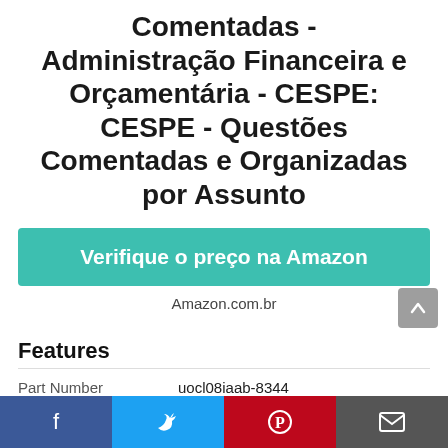Comentadas - Administração Financeira e Orçamentária - CESPE: CESPE - Questões Comentadas e Organizadas por Assunto
Verifique o preço na Amazon
Amazon.com.br
Features
|  |  |
| --- | --- |
| Part Number | uocl08iaab-8344 |
Facebook | Twitter | Pinterest | Email